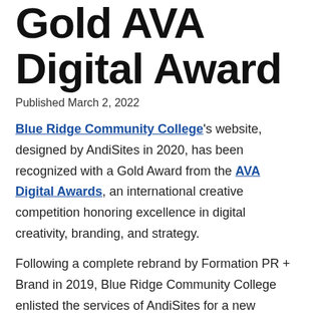Gold AVA Digital Award
Published March 2, 2022
Blue Ridge Community College's website, designed by AndiSites in 2020, has been recognized with a Gold Award from the AVA Digital Awards, an international creative competition honoring excellence in digital creativity, branding, and strategy.
Following a complete rebrand by Formation PR + Brand in 2019, Blue Ridge Community College enlisted the services of AndiSites for a new website design and development. The goals for the new website included improved functionality and navigation that would be